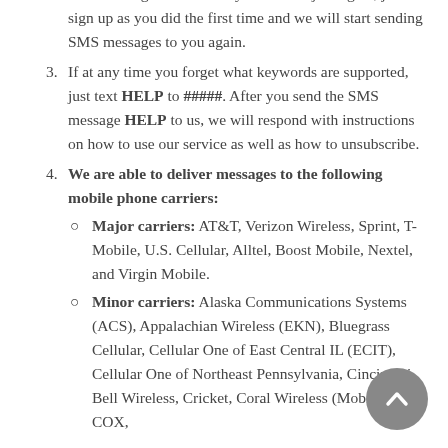SMS messages from us. If you want to join again, just sign up as you did the first time and we will start sending SMS messages to you again.
3. If at any time you forget what keywords are supported, just text HELP to #####. After you send the SMS message HELP to us, we will respond with instructions on how to use our service as well as how to unsubscribe.
4. We are able to deliver messages to the following mobile phone carriers:
Major carriers: AT&T, Verizon Wireless, Sprint, T-Mobile, U.S. Cellular, Alltel, Boost Mobile, Nextel, and Virgin Mobile.
Minor carriers: Alaska Communications Systems (ACS), Appalachian Wireless (EKN), Bluegrass Cellular, Cellular One of East Central IL (ECIT), Cellular One of Northeast Pennsylvania, Cincinnati Bell Wireless, Cricket, Coral Wireless (Mobi PCS), COX,